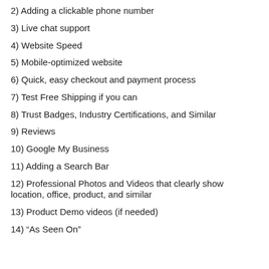2) Adding a clickable phone number
3) Live chat support
4) Website Speed
5) Mobile-optimized website
6) Quick, easy checkout and payment process
7) Test Free Shipping if you can
8) Trust Badges, Industry Certifications, and Similar
9) Reviews
10) Google My Business
11) Adding a Search Bar
12) Professional Photos and Videos that clearly show location, office, product, and similar
13) Product Demo videos (if needed)
14) “As Seen On”